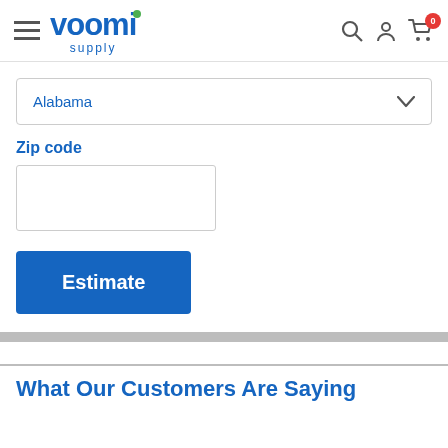voomi supply — navigation bar with hamburger menu, search, account, and cart icons
Alabama
Zip code
Estimate
What Our Customers Are Saying